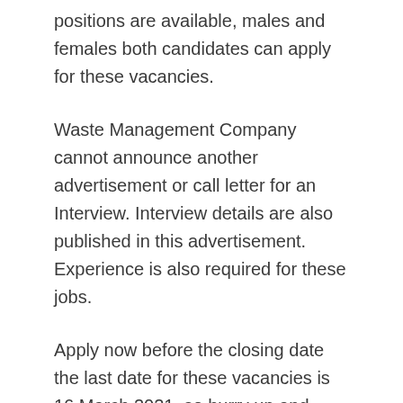positions are available, males and females both candidates can apply for these vacancies.
Waste Management Company cannot announce another advertisement or call letter for an Interview. Interview details are also published in this advertisement. Experience is also required for these jobs.
Apply now before the closing date the last date for these vacancies is 16 March 2021, so hurry up and apply now. For more details read our full page for jobs eligibilities application procedure and also download the job advertisement which is given at the end of this page.